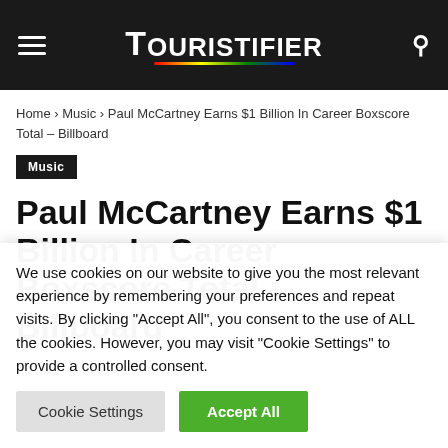TOURISTIFIER
Home › Music › Paul McCartney Earns $1 Billion In Career Boxscore Total – Billboard
Music
Paul McCartney Earns $1 Billion In Career Boxscore Total – Billboard
We use cookies on our website to give you the most relevant experience by remembering your preferences and repeat visits. By clicking "Accept All", you consent to the use of ALL the cookies. However, you may visit "Cookie Settings" to provide a controlled consent.
Cookie Settings  Accept All